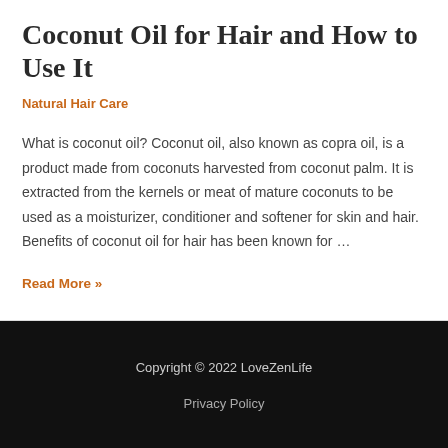Coconut Oil for Hair and How to Use It
Natural Hair Care
What is coconut oil? Coconut oil, also known as copra oil, is a product made from coconuts harvested from coconut palm. It is extracted from the kernels or meat of mature coconuts to be used as a moisturizer, conditioner and softener for skin and hair. Benefits of coconut oil for hair has been known for …
Read More »
Copyright © 2022 LoveZenLife
Privacy Policy